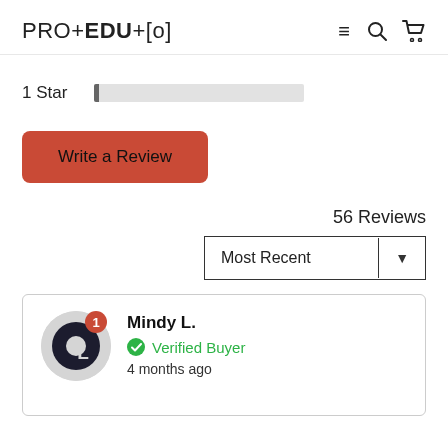PRO+EDU+[o]
1 Star
Write a Review
56 Reviews
Most Recent
Mindy L.
Verified Buyer
4 months ago